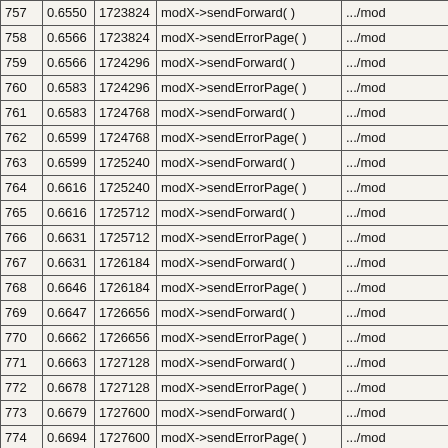|  |  |  |  |  |
| --- | --- | --- | --- | --- |
| 757 | 0.6550 | 1723824 | modX->sendForward( ) | .../mod |
| 758 | 0.6566 | 1723824 | modX->sendErrorPage( ) | .../mod |
| 759 | 0.6566 | 1724296 | modX->sendForward( ) | .../mod |
| 760 | 0.6583 | 1724296 | modX->sendErrorPage( ) | .../mod |
| 761 | 0.6583 | 1724768 | modX->sendForward( ) | .../mod |
| 762 | 0.6599 | 1724768 | modX->sendErrorPage( ) | .../mod |
| 763 | 0.6599 | 1725240 | modX->sendForward( ) | .../mod |
| 764 | 0.6616 | 1725240 | modX->sendErrorPage( ) | .../mod |
| 765 | 0.6616 | 1725712 | modX->sendForward( ) | .../mod |
| 766 | 0.6631 | 1725712 | modX->sendErrorPage( ) | .../mod |
| 767 | 0.6631 | 1726184 | modX->sendForward( ) | .../mod |
| 768 | 0.6646 | 1726184 | modX->sendErrorPage( ) | .../mod |
| 769 | 0.6647 | 1726656 | modX->sendForward( ) | .../mod |
| 770 | 0.6662 | 1726656 | modX->sendErrorPage( ) | .../mod |
| 771 | 0.6663 | 1727128 | modX->sendForward( ) | .../mod |
| 772 | 0.6678 | 1727128 | modX->sendErrorPage( ) | .../mod |
| 773 | 0.6679 | 1727600 | modX->sendForward( ) | .../mod |
| 774 | 0.6694 | 1727600 | modX->sendErrorPage( ) | .../mod |
| 775 | 0.6694 | 1728072 | modX->sendForward( ) | .../mod |
| 776 | 0.6710 | 1728072 | modX->sendErrorPage( ) | .../mod |